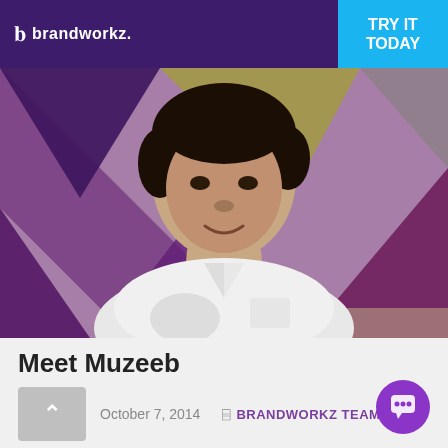brandworkz. | TRY IT TODAY
[Figure (photo): Portrait photo of Muzeeb, a young man in a white shirt, smiling, against a colorful geometric background with purple, yellow, grey and plum triangles]
Meet Muzeeb
October 7, 2014
BRANDWORKZ TEAM